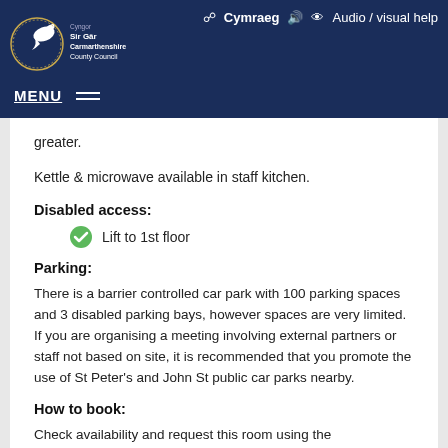Carmarthenshire County Council — MENU | ⊕ Cymraeg 🔊 👁 Audio / visual help
greater.
Kettle & microwave available in staff kitchen.
Disabled access:
Lift to 1st floor
Parking:
There is a barrier controlled car park with 100 parking spaces and 3 disabled parking bays, however spaces are very limited. If you are organising a meeting involving external partners or staff not based on site, it is recommended that you promote the use of St Peter's and John St public car parks nearby.
How to book:
Check availability and request this room using the